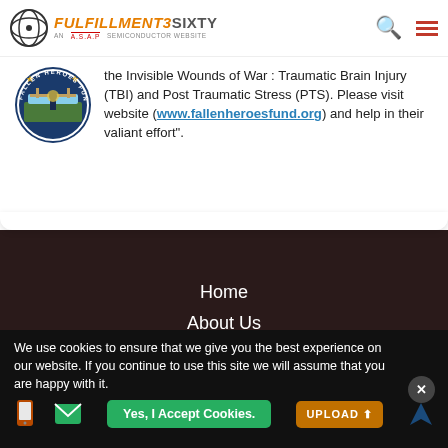FULFILLMENT3SIXTY — AN A.S.A.P SEMICONDUCTOR WEBSITE
the Invisible Wounds of War : Traumatic Brain Injury (TBI) and Post Traumatic Stress (PTS). Please visit website (www.fallenheroesfund.org) and help in their valiant effort".
Home
About Us
Sheet Metal
We use cookies to ensure that we give you the best experience on our website. If you continue to use this site we will assume that you are happy with it.